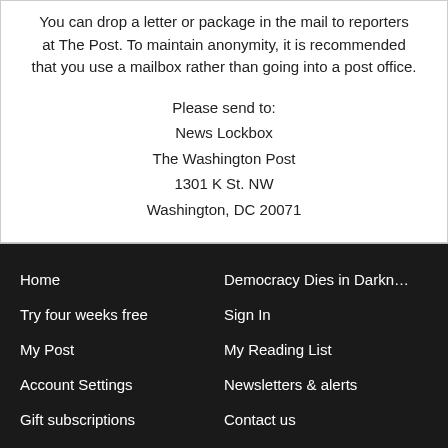You can drop a letter or package in the mail to reporters at The Post. To maintain anonymity, it is recommended that you use a mailbox rather than going into a post office.
Please send to:
News Lockbox
The Washington Post
1301 K St. NW
Washington, DC 20071
Home
Democracy Dies in Darkn…
Try four weeks free
Sign In
My Post
My Reading List
Account Settings
Newsletters & alerts
Gift subscriptions
Contact us
Help desk